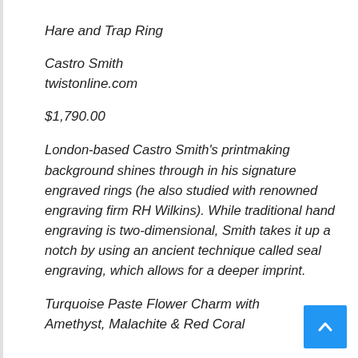Hare and Trap Ring
Castro Smith
twistonline.com
$1,790.00
London-based Castro Smith's printmaking background shines through in his signature engraved rings (he also studied with renowned engraving firm RH Wilkins). While traditional hand engraving is two-dimensional, Smith takes it up a notch by using an ancient technique called seal engraving, which allows for a deeper imprint.
Turquoise Paste Flower Charm with Amethyst, Malachite & Red Coral